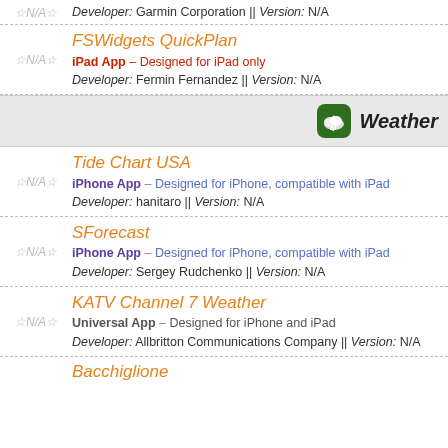Developer: Garmin Corporation || Version: N/A
FSWidgets QuickPlan — iPad App – Designed for iPad only — Developer: Fermin Fernandez || Version: N/A
Weather
Tide Chart USA — iPhone App – Designed for iPhone, compatible with iPad — Developer: hanitaro || Version: N/A
SForecast — iPhone App – Designed for iPhone, compatible with iPad — Developer: Sergey Rudchenko || Version: N/A
KATV Channel 7 Weather — Universal App – Designed for iPhone and iPad — Developer: Allbritton Communications Company || Version: N/A
Bacchiglione